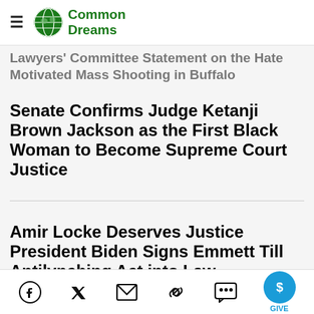Common Dreams
Lawyers' Committee Statement on the Hate Motivated Mass Shooting in Buffalo Senate Confirms Judge Ketanji Brown Jackson as the First Black Woman to Become Supreme Court Justice
Amir Locke Deserves Justice President Biden Signs Emmett Till Antilynching Act into Law
In New Report, Lawyers' Committee Recommends the Confirmation of Supreme...
Social share icons and GIVE button